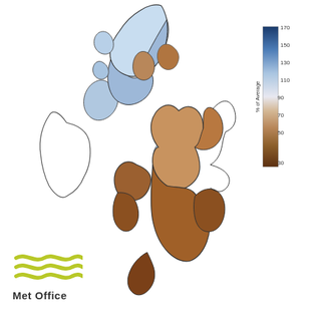[Figure (map): Choropleth map of the UK and Ireland showing rainfall as percentage of average. Scotland and some northern regions show blue tones (above average, up to 170%), while most of England and Wales show brown tones (below average, down to 30%). A color legend in the top-right shows the scale from 30 (dark brown) to 170 (dark blue) % of Average.]
[Figure (logo): Met Office logo: three wavy lines in yellow-green color above the text 'Met Office' in bold dark gray.]